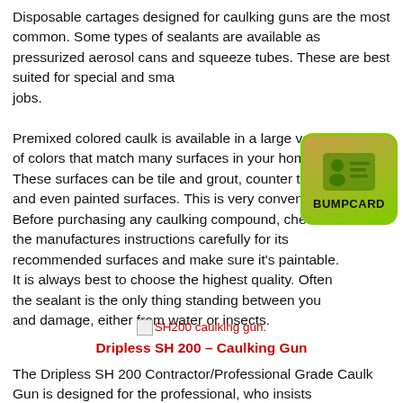Disposable cartages designed for caulking guns are the most common. Some types of sealants are available as pressurized aerosol cans and squeeze tubes. These are best suited for special and small jobs.
[Figure (logo): BUMPCARD logo — a card/ID icon in green on a gradient brown-to-green rounded rectangle badge with green border and 'BUMPCARD' label]
Premixed colored caulk is available in a large variety of colors that match many surfaces in your home. These surfaces can be tile and grout, counter tops and even painted surfaces. This is very convenient. Before purchasing any caulking compound, check the manufactures instructions carefully for its recommended surfaces and make sure it's paintable. It is always best to choose the highest quality. Often the sealant is the only thing standing between you and damage, either from water or insects.
[image] SH200 caulking gun.
Dripless SH 200 – Caulking Gun
The Dripless SH 200 Contractor/Professional Grade Caulk Gun is designed for the professional, who insists